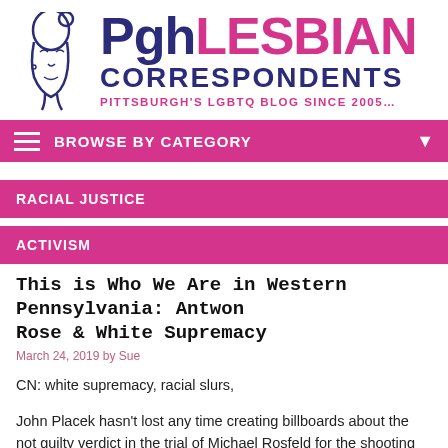[Figure (logo): Pgh Lesbian Correspondents logo with woman silhouette icon and text 'PghLESBIAN CORRESPONDENTS - PITTSBURGH'S LGBTQ BLOG SINCE 2005...']
BROWSE BY CATEGORY
RACIAL JUSTICE
ACTIVISM
This is Who We Are in Western Pennsylvania: Antwon Rose & White Supremacy
March 24, 2019 by Sue
CN: white supremacy, racial slurs,
John Placek hasn't lost any time creating billboards about the not guilty verdict in the trial of Michael Rosfeld for the shooting death of then-17-